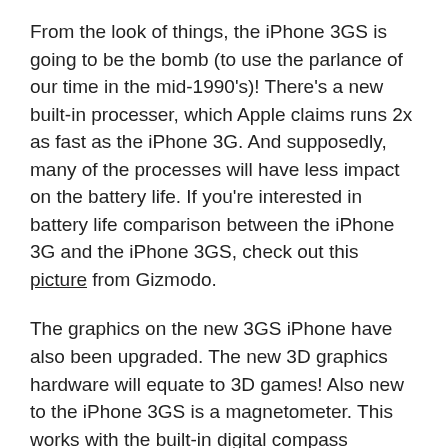From the look of things, the iPhone 3GS is going to be the bomb (to use the parlance of our time in the mid-1990's)! There's a new built-in processer, which Apple claims runs 2x as fast as the iPhone 3G. And supposedly, many of the processes will have less impact on the battery life. If you're interested in battery life comparison between the iPhone 3G and the iPhone 3GS, check out this picture from Gizmodo.
The graphics on the new 3GS iPhone have also been upgraded. The new 3D graphics hardware will equate to 3D games! Also new to the iPhone 3GS is a magnetometer. This works with the built-in digital compass application to provide orientation data. This means that in Google Maps, you will be able to see where you are and which direction you are facing.
To make the 3GS even more awesome, Apple added